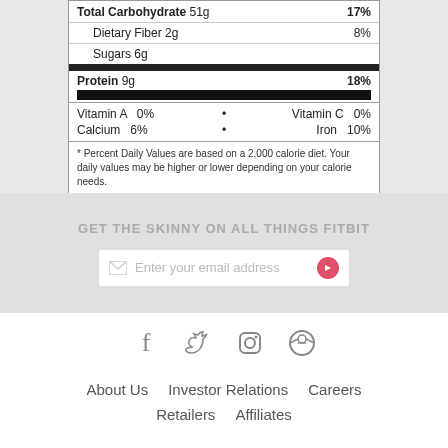| Total Carbohydrate 51g | 17% |
| Dietary Fiber 2g | 8% |
| Sugars 6g |  |
| Protein 9g | 18% |
| Vitamin A  0% | • | Vitamin C  0% |
| Calcium  6% | • | Iron  10% |
* Percent Daily Values are based on a 2,000 calorie diet. Your daily values may be higher or lower depending on your calorie needs.
GET THE SKINNY ON ALL THINGS FITBIT
Enter your email address
[Figure (other): Social media icons: Facebook, Twitter, Instagram, Pinterest]
About Us   Investor Relations   Careers   Retailers   Affiliates